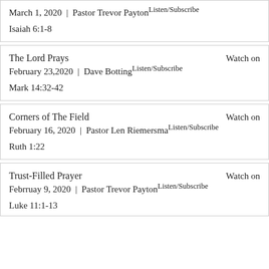March 1, 2020 | Pastor Trevor Payton Listen/Subscribe
Isaiah 6:1-8
The Lord Prays Watch on
February 23,2020 | Dave Botting Listen/Subscribe
Mark 14:32-42
Corners of The Field Watch on
February 16, 2020 | Pastor Len Riemersma Listen/Subscribe
Ruth 1:22
Trust-Filled Prayer Watch on
February 9, 2020 | Pastor Trevor Payton Listen/Subscribe
Luke 11:1-13